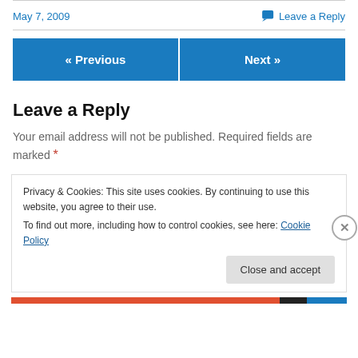May 7, 2009
Leave a Reply
« Previous
Next »
Leave a Reply
Your email address will not be published. Required fields are marked *
Privacy & Cookies: This site uses cookies. By continuing to use this website, you agree to their use.
To find out more, including how to control cookies, see here: Cookie Policy
Close and accept